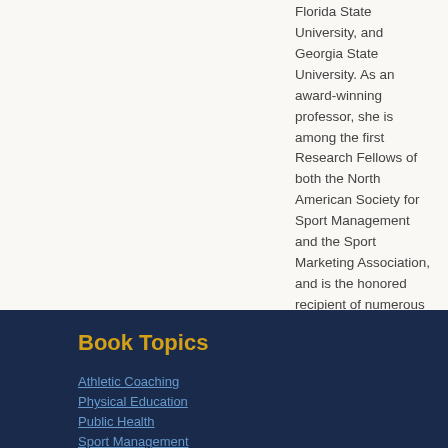Florida State University, and Georgia State University. As an award-winning professor, she is among the first Research Fellows of both the North American Society for Sport Management and the Sport Marketing Association, and is the honored recipient of numerous awards, including the 2020 COSMA Hall of Fame Master Professor Award, 2012 and 2016 Diversity Award, the prestigious Dr. Earle F. Zeigler...
Book Topics
Athletic Coaching
Physical Education
Public Health
Sport Management